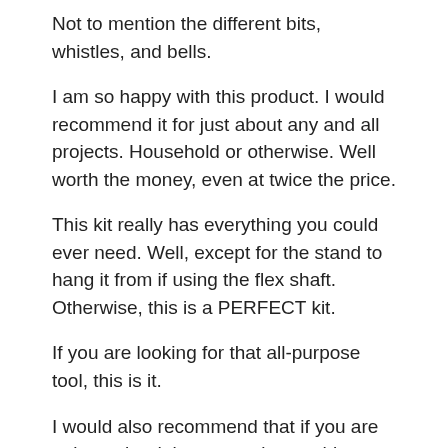Not to mention the different bits, whistles, and bells.
I am so happy with this product. I would recommend it for just about any and all projects. Household or otherwise. Well worth the money, even at twice the price.
This kit really has everything you could ever need. Well, except for the stand to hang it from if using the flex shaft. Otherwise, this is a PERFECT kit.
If you are looking for that all-purpose tool, this is it.
I would also recommend that if you are going to be doing engraving, etching, or carving of any fashion that you invest in a good respirator, only because dust (wood, glass, bone, metal) is not good to breathe in. Just a side note for anyone who is a crafter like myself.